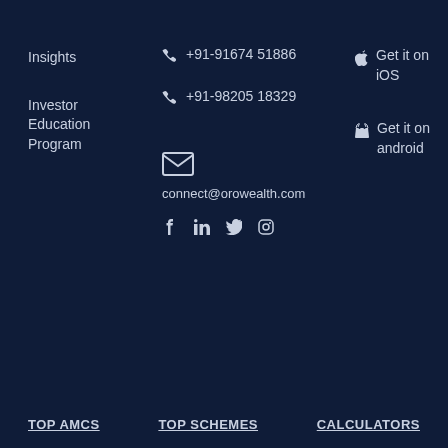Insights
Investor Education Program
+91-91674 51886
+91-98205 18329
connect@orowealth.com
Get it on iOS
Get it on android
TOP AMCS   TOP SCHEMES   CALCULATORS